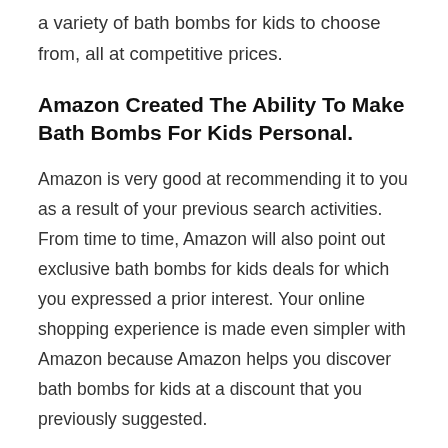a variety of bath bombs for kids to choose from, all at competitive prices.
Amazon Created The Ability To Make Bath Bombs For Kids Personal.
Amazon is very good at recommending it to you as a result of your previous search activities. From time to time, Amazon will also point out exclusive bath bombs for kids deals for which you expressed a prior interest. Your online shopping experience is made even simpler with Amazon because Amazon helps you discover bath bombs for kids at a discount that you previously suggested.